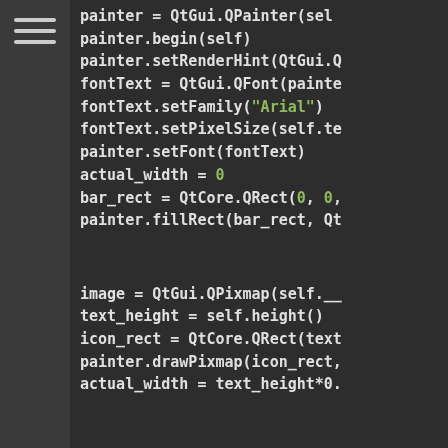[Figure (screenshot): Code editor screenshot showing Python/Qt code with dark theme. Sidebar with hamburger menu icon on the left, code panel on the right.]